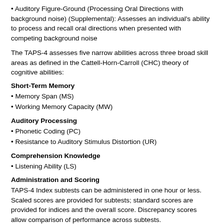• Auditory Figure-Ground (Processing Oral Directions with background noise) (Supplemental): Assesses an individual's ability to process and recall oral directions when presented with competing background noise
The TAPS-4 assesses five narrow abilities across three broad skill areas as defined in the Cattell-Horn-Carroll (CHC) theory of cognitive abilities:
Short-Term Memory
• Memory Span (MS)
• Working Memory Capacity (MW)
Auditory Processing
• Phonetic Coding (PC)
• Resistance to Auditory Stimulus Distortion (UR)
Comprehension Knowledge
• Listening Ability (LS)
Administration and Scoring
TAPS-4 Index subtests can be administered in one hour or less. Scaled scores are provided for subtests; standard scores are provided for indices and the overall score. Discrepancy scores allow comparison of performance across subtests.